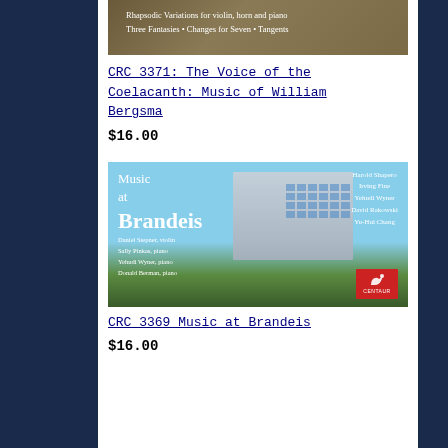[Figure (photo): Album cover for CRC 3371: The Voice of the Coelacanth: Music of William Bergsma, showing text about Rhapsodic Variations for violin, horn and piano, Three Fantasies, Changes for Seven, Tangents on a warm brown/gold background]
CRC 3371: The Voice of the Coelacanth: Music of William Bergsma
$16.00
[Figure (photo): Album cover for Music at Brandeis featuring a modern building photograph with blue sky. Lists composers: Harold Shapero, Irving Fine, Yehudi Wyner, David Rakowski, Yu-Hui Chang. Performers: Daniel Stepner violin, Sally Pinkas piano, Yehudi Wyner piano, Donald Berman piano. Centaur Records logo in red.]
CRC 3369 Music at Brandeis
$16.00